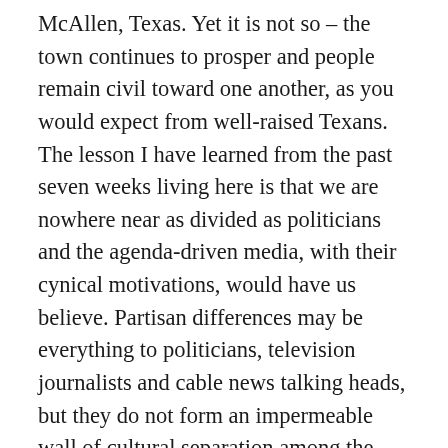McAllen, Texas. Yet it is not so – the town continues to prosper and people remain civil toward one another, as you would expect from well-raised Texans. The lesson I have learned from the past seven weeks living here is that we are nowhere near as divided as politicians and the agenda-driven media, with their cynical motivations, would have us believe. Partisan differences may be everything to politicians, television journalists and cable news talking heads, but they do not form an impermeable wall of cultural separation among the people in this town.
Yes, there is a culture war in progress with significant social stakes for both sides. Yes, Trump's proposed border wall is incredibly unpopular here, and Texan Senator Ted Cruz was (with some justification) made to feel quite unpopular when he stopped in town for a rare campaign visit last Fourth of July. But if it was his goal, Donald